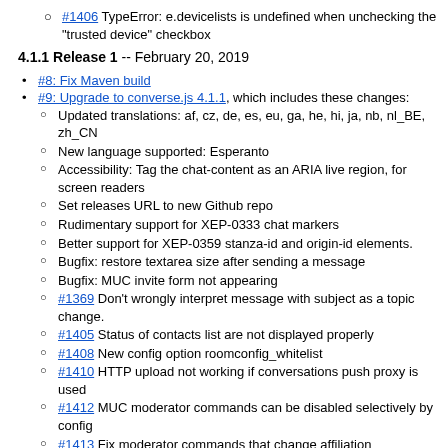#1406 TypeError: e.devicelists is undefined when unchecking the "trusted device" checkbox
4.1.1 Release 1 -- February 20, 2019
#8: Fix Maven build
#9: Upgrade to converse.js 4.1.1, which includes these changes:
Updated translations: af, cz, de, es, eu, ga, he, hi, ja, nb, nl_BE, zh_CN
New language supported: Esperanto
Accessibility: Tag the chat-content as an ARIA live region, for screen readers
Set releases URL to new Github repo
Rudimentary support for XEP-0333 chat markers
Better support for XEP-0359 stanza-id and origin-id elements.
Bugfix: restore textarea size after sending a message
Bugfix: MUC invite form not appearing
#1369 Don't wrongly interpret message with subject as a topic change.
#1405 Status of contacts list are not displayed properly
#1408 New config option roomconfig_whitelist
#1410 HTTP upload not working if conversations push proxy is used
#1412 MUC moderator commands can be disabled selectively by config
#1413 Fix moderator commands that change affiliation
#1414 Prevent duplicate messages on MUC join
#1417 Margin between nickname and badge
#1421 Fix direct invite for membersonly room
#1422 Resurrect the muc_show_join_leave option